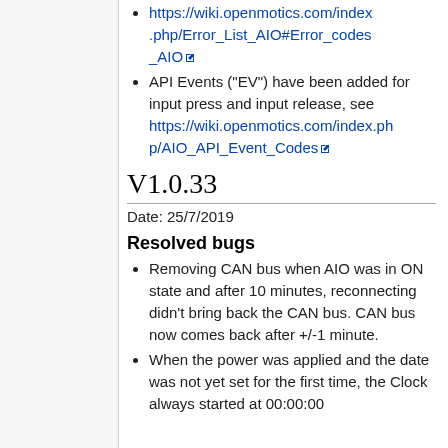https://wiki.openmotics.com/index.php/Error_List_AIO#Error_codes_AIO
API Events ("EV") have been added for input press and input release, see https://wiki.openmotics.com/index.php/AIO_API_Event_Codes
V1.0.33
Date: 25/7/2019
Resolved bugs
Removing CAN bus when AIO was in ON state and after 10 minutes, reconnecting didn't bring back the CAN bus. CAN bus now comes back after +/-1 minute.
When the power was applied and the date was not yet set for the first time, the Clock always started at 00:00:00